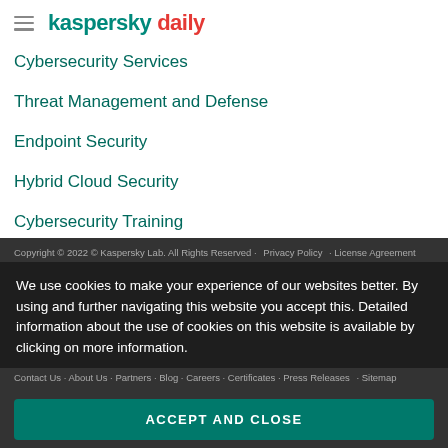kaspersky daily
Cybersecurity Services
Threat Management and Defense
Endpoint Security
Hybrid Cloud Security
Cybersecurity Training
Threat Intelligence
All Solutions
Copyright © 2022 © Kaspersky Lab. All Rights Reserved · Privacy Policy · License Agreement
We use cookies to make your experience of our websites better. By using and further navigating this website you accept this. Detailed information about the use of cookies on this website is available by clicking on more information.
ACCEPT AND CLOSE
Securelist · Threatpost · Digital Personaling · Encyclopedia